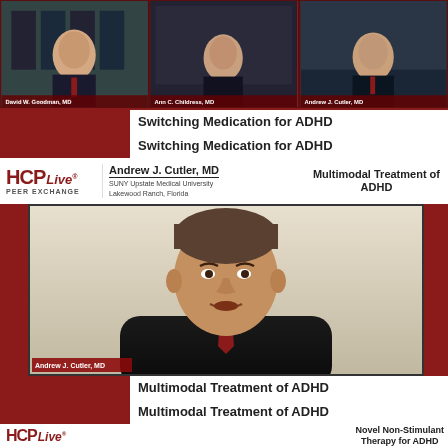[Figure (screenshot): Three video thumbnails in a row showing three doctors: David W. Goodman MD, Ann C. Childress MD, Andrew J. Cutler MD, each in a dark-background video call thumbnail with name labels.]
Switching Medication for ADHD
Switching Medication for ADHD
[Figure (screenshot): HCPLive Peer Exchange banner with Andrew J. Cutler MD name, SUNY Upstate Medical University, Lakewood Ranch, Florida, and text Multimodal Treatment of ADHD on the right.]
[Figure (photo): Main video of Andrew J. Cutler MD speaking, man in dark suit with red tie, label Andrew J. Cutler MD at bottom left.]
Multimodal Treatment of ADHD
Multimodal Treatment of ADHD
[Figure (screenshot): HCPLive logo with text Novel Non-Stimulant Therapy for ADHD partially visible.]